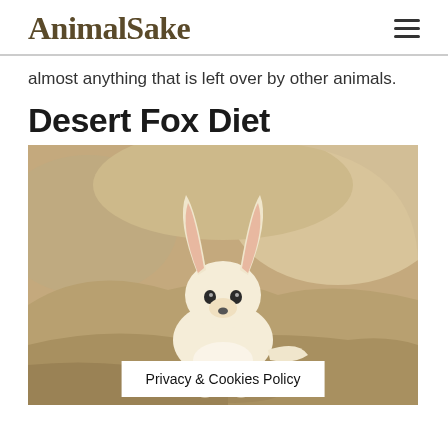AnimalSake
almost anything that is left over by other animals.
Desert Fox Diet
[Figure (photo): A fennec fox with large ears sitting on rocks in a sandy, rocky desert environment.]
Privacy & Cookies Policy